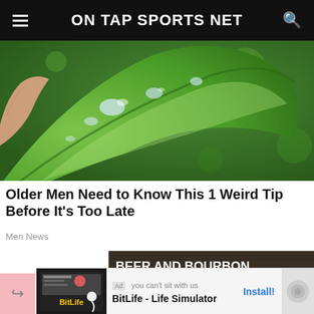ON TAP SPORTS NET
[Figure (photo): Close-up photo of a green aloe vera leaf with water droplets and blurred green background]
Older Men Need to Know This 1 Weird Tip Before It's Too Late
Men News
[Figure (photo): Advertisement banner for Duke Cannon Beer and Bourbon Soap - 4.9 Stars 1000+ Reviews, Masculine Woodsy, showing soap boxes on wooden surface]
[Figure (advertisement): Bottom banner ad for BitLife - Life Simulator app with Install button]